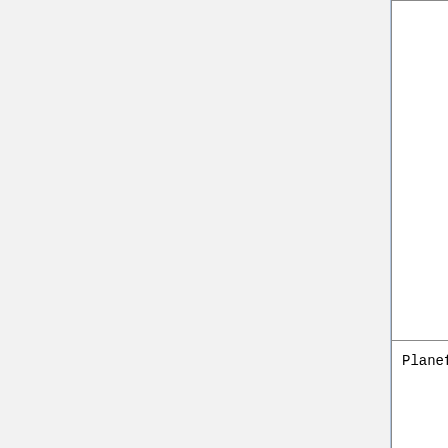| File | Description |
| --- | --- |
|  | List of diagnostics archived to netCDF format wiki page. |
| Planeflight.dat | Specifies flight tracks for which you want to save out specific tracers, chemical species, or met field quantities. |
GEOS-Chem photolysis mechanism files
These are only found in the run directories for the various full-chemistry and aerosol-only